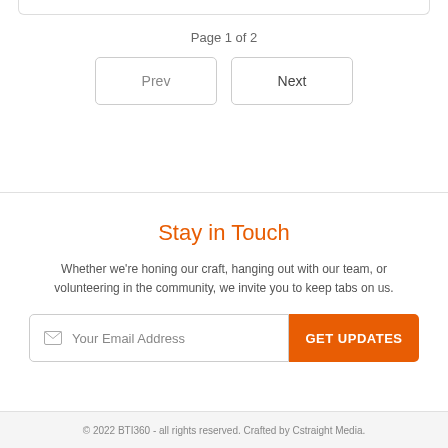Page 1 of 2
Prev
Next
Stay in Touch
Whether we're honing our craft, hanging out with our team, or volunteering in the community, we invite you to keep tabs on us.
Your Email Address
GET UPDATES
© 2022 BTI360 - all rights reserved. Crafted by Cstraight Media.